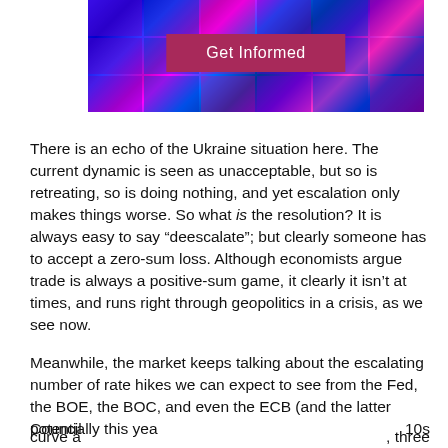[Figure (photo): A dark blue digital media collage showing multiple screens and displays, with a crimson/magenta banner reading 'Get Informed' overlaid in the center.]
There is an echo of the Ukraine situation here. The current dynamic is seen as unacceptable, but so is retreating, so is doing nothing, and yet escalation only makes things worse. So what is the resolution? It is always easy to say “deescalate”; but clearly someone has to accept a zero-sum loss. Although economists argue trade is always a positive-sum game, it clearly it isn’t at times, and runs right through geopolitics in a crisis, as we see now.
Meanwhile, the market keeps talking about the escalating number of rate hikes we can expect to see from the Fed, the BOE, the BOC, and even the ECB (and the latter potentially this yea... Council 10s curve a three